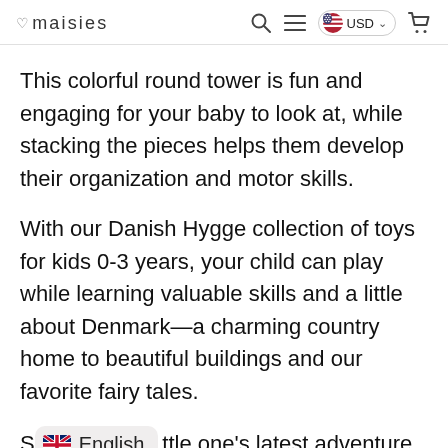maisies  USD
This colorful round tower is fun and engaging for your baby to look at, while stacking the pieces helps them develop their organization and motor skills.
With our Danish Hygge collection of toys for kids 0-3 years, your child can play while learning valuable skills and a little about Denmark—a charming country home to beautiful buildings and our favorite fairy tales.
S [English] ttle one's latest adventure [icon] taken them by referencing the map. (Map of